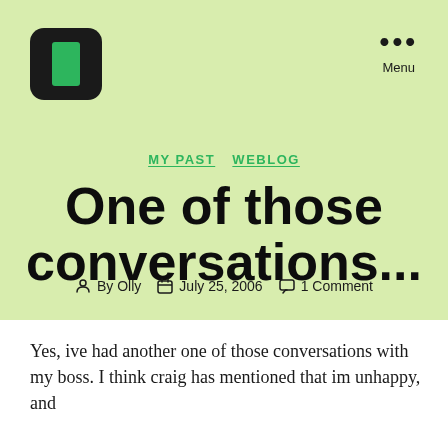[Figure (logo): Black rounded square logo with a green rectangle inside]
Menu
MY PAST  WEBLOG
One of those conversations...
By Olly  July 25, 2006  1 Comment
Yes, ive had another one of those conversations with my boss. I think craig has mentioned that im unhappy, and